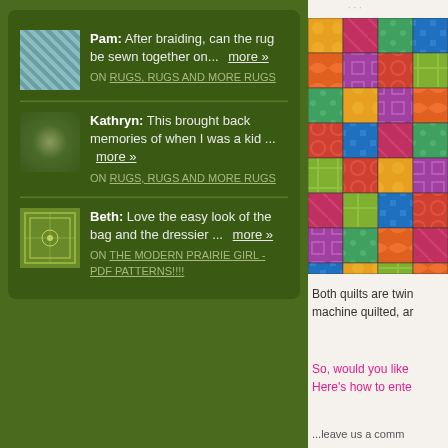Pam: After braiding, can the rug be sewn together on... more »
ON RUGS, RUGS AND MORE RUGS
Kathryn: This brought back memories of when I was a kid ... more »
ON RUGS, RUGS AND MORE RUGS
Beth: Love the easy look of the bag and the dressier ... more »
ON THE MODERN PRAIRIE GIRL - PDF PATTERNS!!!!
[Figure (photo): Colorful patchwork quilt with various fabric patterns in orange, red, pink, green, teal and blue squares]
Both quilts are twin machine quilted, ar
So, would you like Here's how to ente
...leave us a comm